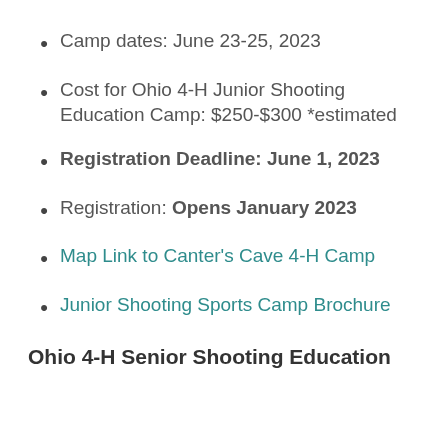Camp dates: June 23-25, 2023
Cost for Ohio 4-H Junior Shooting Education Camp: $250-$300 *estimated
Registration Deadline: June 1, 2023
Registration: Opens January 2023
Map Link to Canter's Cave 4-H Camp
Junior Shooting Sports Camp Brochure
Ohio 4-H Senior Shooting Education